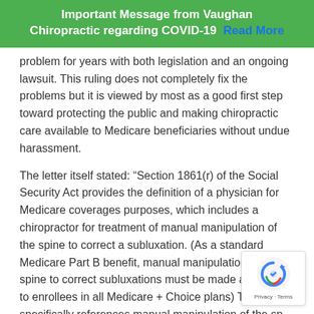Important Message from Vaughan Chiropractic regarding COVID-19  Read More
problem for years with both legislation and an ongoing lawsuit. This ruling does not completely fix the problems but it is viewed by most as a good first step toward protecting the public and making chiropractic care available to Medicare beneficiaries without undue harassment.
The letter itself stated: “Section 1861(r) of the Social Security Act provides the definition of a physician for Medicare coverages purposes, which includes a chiropractor for treatment of manual manipulation of the spine to correct a subluxation. (As a standard Medicare Part B benefit, manual manipulation of the spine to correct subluxations must be made available to enrollees in all Medicare + Choice plans) The statute specifically references manual manipulation of the spine to correct a subluxation as a physician service. Thus,